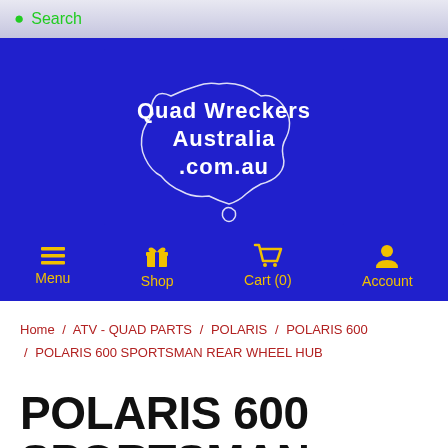Search
[Figure (logo): Quad Wreckers Australia .com.au logo with outline map of Australia on blue background]
Menu
Shop
Cart (0)
Account
Home / ATV - QUAD PARTS / POLARIS / POLARIS 600 / POLARIS 600 SPORTSMAN REAR WHEEL HUB
POLARIS 600 SPORTSMAN REAR WHEEL HUB